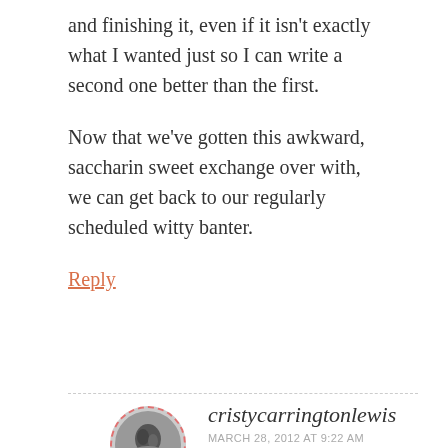and finishing it, even if it isn't exactly what I wanted just so I can write a second one better than the first.
Now that we've gotten this awkward, saccharin sweet exchange over with, we can get back to our regularly scheduled witty banter.
Reply
cristycarringtonlewis
MARCH 28, 2012 AT 9:22 AM
Erm, you know I'm packing, right? My witty banter is currently on strike as I've forced it to tape up three thousand boxes in the last